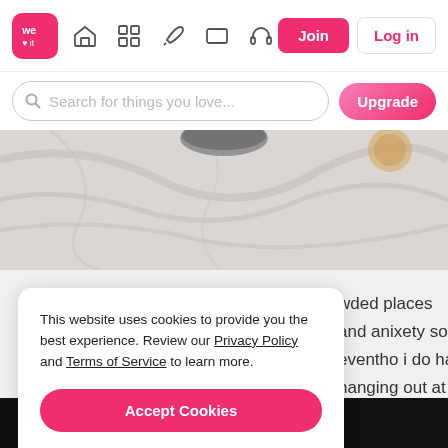[Figure (screenshot): We Heart It website navigation bar with logo, home, grid, pen, card, headphone icons, Join button (pink), Log in button]
[Figure (screenshot): Search bar with placeholder 'Search for things you love...' and pink Upgrade button]
[Figure (photo): Marble surface photo showing gray/white marble texture with a dark round object]
wded places and anixety so i'm eventho i do have hanging out at stay at home alone
[Figure (screenshot): Cookie consent modal dialog box]
This website uses cookies to provide you the best experience. Review our Privacy Policy and Terms of Service to learn more.
Accept Cookies
Only users 16 years or older may use We Heart It.